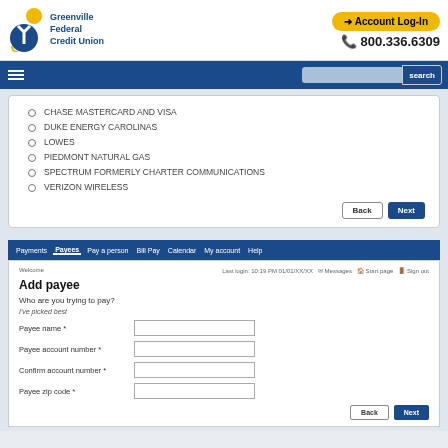Greenville Federal Credit Union
Account Log-In
800.336.6309
CHASE MASTERCARD AND VISA
DUKE ENERGY CAROLINAS
LOWES
PIEDMONT NATURAL GAS
SPECTRUM FORMERLY CHARTER COMMUNICATIONS
VERIZON WIRELESS
Add payee
Who are you trying to pay?
Payee name *
Payee account number *
Confirm account number *
Payee zip code *